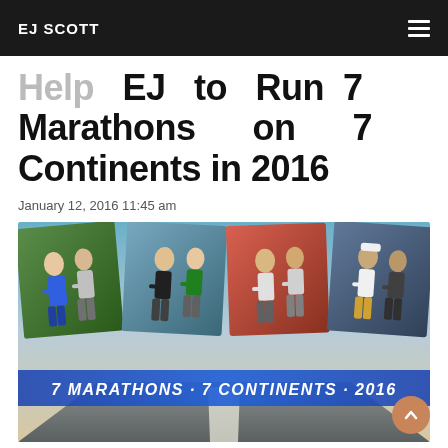EJ SCOTT
Help EJ to Run 7 Marathons on 7 Continents in 2016
January 12, 2016 11:45 am
[Figure (photo): Composite image showing runners in marathon photos above a road scene, with banner text '7 MARATHONS · 7 CONTINENTS · 2016']